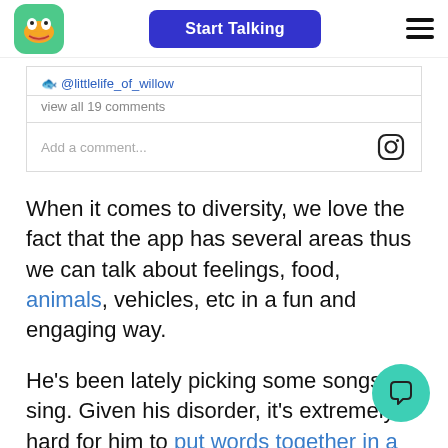Start Talking
🐟 @littlelife_of_willow
view all 19 comments
Add a comment...
When it comes to diversity, we love the fact that the app has several areas thus we can talk about feelings, food, animals, vehicles, etc in a fun and engaging way.
He's been lately picking some songs to sing. Given his disorder, it's extremely hard for him to put words together in a sentence, yet he tries with all his might to sing Row Row Row Your Boat, and that gives us